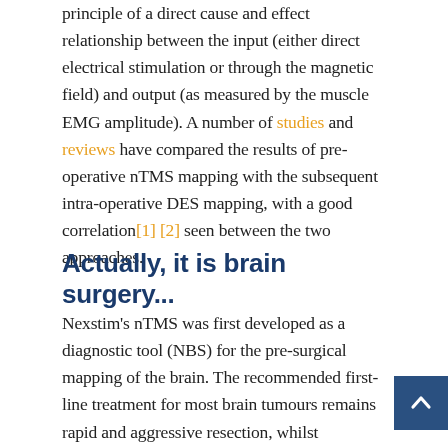principle of a direct cause and effect relationship between the input (either direct electrical stimulation or through the magnetic field) and output (as measured by the muscle EMG amplitude). A number of studies and reviews have compared the results of pre-operative nTMS mapping with the subsequent intra-operative DES mapping, with a good correlation[1] [2] seen between the two approaches.
Actually, it is brain surgery...
Nexstim's nTMS was first developed as a diagnostic tool (NBS) for the pre-surgical mapping of the brain. The recommended first-line treatment for most brain tumours remains rapid and aggressive resection, whilst preserving as much essential brain function as possible. The